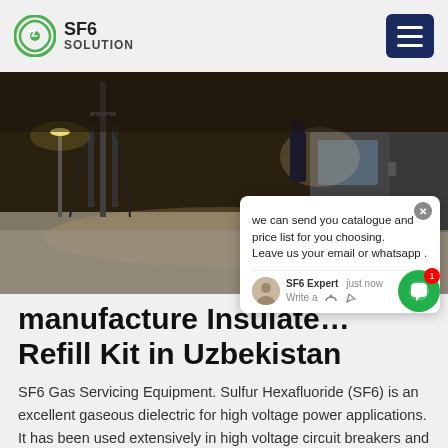SF6 SOLUTION
[Figure (photo): Industrial outdoor scene at night showing electrical substation equipment with cables, a truck, and gravel ground under artificial lighting.]
we can send you catalogue and price list for you choosing. Leave us your email or whatsapp .
manufacture Insulate… Refill Kit in Uzbekistan
SF6 Gas Servicing Equipment. Sulfur Hexafluoride (SF6) is an excellent gaseous dielectric for high voltage power applications. It has been used extensively in high voltage circuit breakers and other switchgear employed by the power industry.